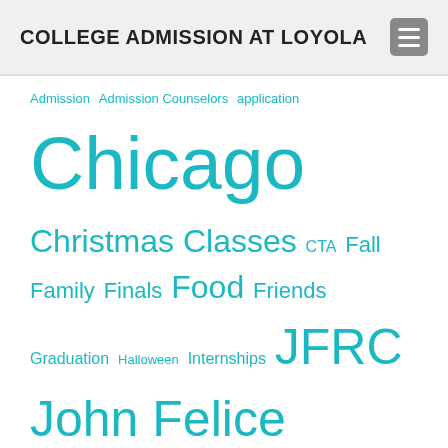COLLEGE ADMISSION AT LOYOLA
Admission Admission Counselors application Chicago Christmas Classes CTA Fall Family Finals Food Friends Graduation Halloween Internships JFRC John Felice Rome Center Journalism Lake Michigan Lake Shore Campus Lincoln Park Zoo Loyola Loyola University Chicago Loyola Weekend Michigan Avenue Midterms Music Navy Pier Ramblers Rome Scholarships School of Communication Service Snow Spring Spring Break Spring Semester Student Organizations Study Abroad Summer Thanksgiving Undergraduate Admission Office Water Tower Campus winter Winter break